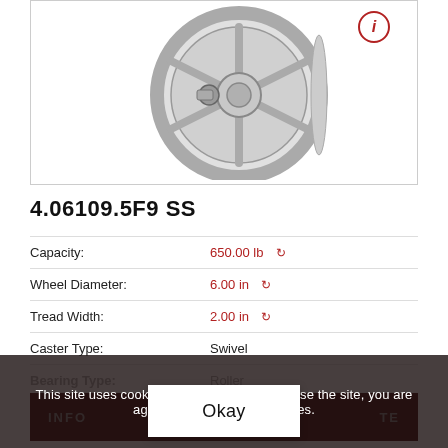[Figure (photo): Technical illustration/rendering of a stainless steel caster wheel (part 4.06109.5F9 SS), showing a 6-spoke wheel with V-groove tread, axle bolt, and metallic finish, viewed at a slight angle.]
4.06109.5F9 SS
| Property | Value |
| --- | --- |
| Capacity: | 650.00 lb |
| Wheel Diameter: | 6.00 in |
| Tread Width: | 2.00 in |
| Caster Type: | Swivel |
| Bearing Type: | Roller |
This site uses cookies. By continuing to browse the site, you are agreeing to our use of cookies.
Okay
INFO   TE